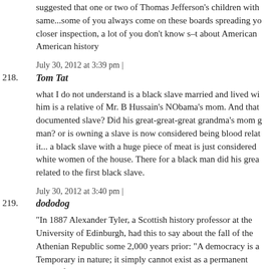suggested that one or two of Thomas Jefferson's children with the same...some of you always come on these boards spreading yo... closer inspection, a lot of you don't know s–t about American American history
July 30, 2012 at 3:39 pm |
218. Tom Tat
what I do not understand is a black slave married and lived wi... him is a relative of Mr. B Hussain's NObama's mom. And that documented slave? Did his great-great-great grandma's mom g... man? or is owning a slave is now considered being blood relat... it... a black slave with a huge piece of meat is just considered white women of the house. There for a black man did his grea... related to the first black slave.
July 30, 2012 at 3:40 pm |
219. dododog
"In 1887 Alexander Tyler, a Scottish history professor at the University of Edinburgh, had this to say about the fall of the Athenian Republic some 2,000 years prior: "A democracy is a Temporary in nature; it simply cannot exist as a permanent Form of government. A democracy will continue to exist up u... The time that voters discover that they can vote themselves ge... Gifts from the public treasury. From that moment on, the mai...